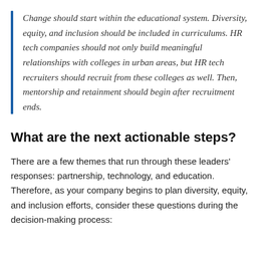Change should start within the educational system. Diversity, equity, and inclusion should be included in curriculums. HR tech companies should not only build meaningful relationships with colleges in urban areas, but HR tech recruiters should recruit from these colleges as well. Then, mentorship and retainment should begin after recruitment ends.
What are the next actionable steps?
There are a few themes that run through these leaders' responses: partnership, technology, and education. Therefore, as your company begins to plan diversity, equity, and inclusion efforts, consider these questions during the decision-making process: